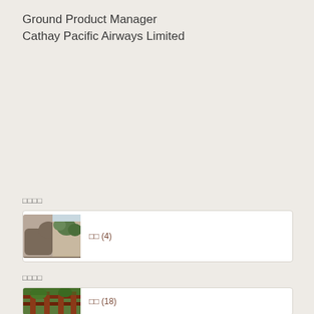Ground Product Manager
Cathay Pacific Airways Limited
□□□□
[Figure (photo): Photo of elephants near rocky cliffs with trees in background]
□□ (4)
□□□□
[Figure (photo): Photo of a traditional structure with green foliage]
□□ (18)